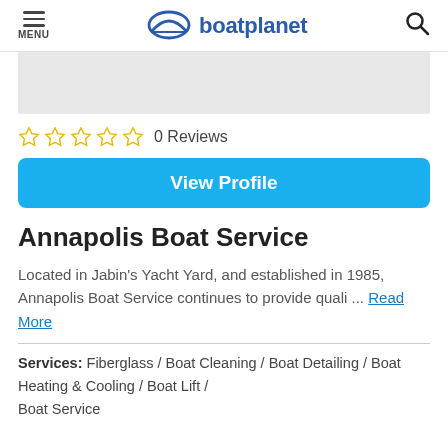MENU | boatplanet
[Figure (photo): Gray placeholder image for business listing]
☆ ☆ ☆ ☆ ☆   0 Reviews
View Profile
Annapolis Boat Service
Located in Jabin's Yacht Yard, and established in 1985, Annapolis Boat Service continues to provide quali ... Read More
Services: Fiberglass / Boat Cleaning / Boat Detailing / Boat Heating & Cooling / Boat Lift / Boat Service